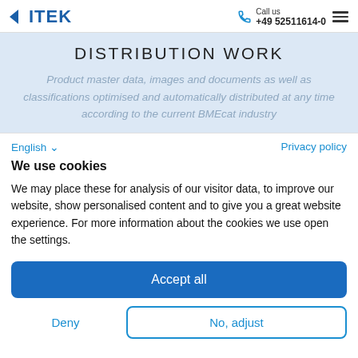[Figure (logo): VITEK logo with blue chevron/arrow and blue text]
Call us +49 52511614-0
DISTRIBUTION WORK
Product master data, images and documents as well as classifications optimised and automatically distributed at any time according to the current BMEcat industry
English ∨   Privacy policy
We use cookies
We may place these for analysis of our visitor data, to improve our website, show personalised content and to give you a great website experience. For more information about the cookies we use open the settings.
Accept all
Deny
No, adjust